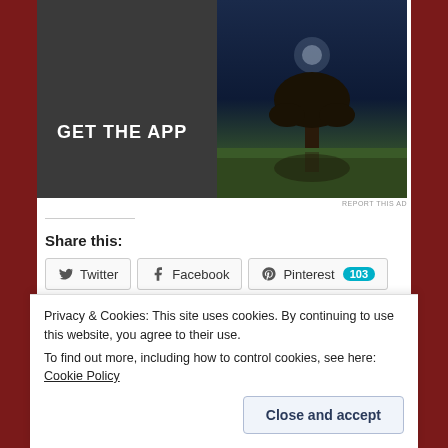[Figure (screenshot): App advertisement banner with dark background showing 'GET THE APP' text and a tree silhouette image on the right]
REPORT THIS AD
Share this:
Twitter
Facebook
Pinterest 103
Email
Loading...
Standard | Posted in Author interview, Christian
Privacy & Cookies: This site uses cookies. By continuing to use this website, you agree to their use.
To find out more, including how to control cookies, see here: Cookie Policy
Close and accept